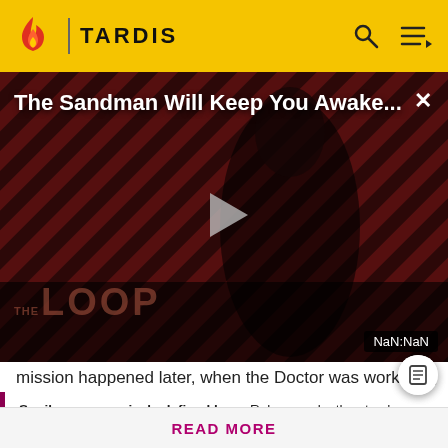TARDIS
[Figure (screenshot): Video player showing 'The Sandman Will Keep You Awake...' with a dark dramatic figure on a striped red/dark background. THE LOOP text visible at bottom. Play button in center. Timer shows NaN:NaN.]
mission happened later, when the Doctor was working fo
Spoilers are precisely defined here. Rules vary by the story's medium. Info from television stories can't be added here
READ MORE